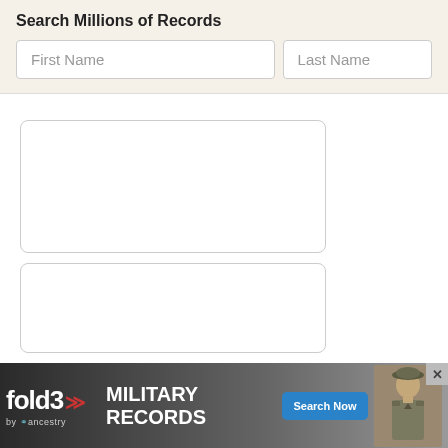Search Millions of Records
[Figure (screenshot): Search form with First Name and Last Name input fields on a beige background]
[Figure (screenshot): Two white rounded-corner card panels in a two-column layout. Left column has a large card and a smaller card below. Right side is white space.]
[Figure (advertisement): Fold3 by Ancestry military records advertisement banner with 'Search Now' button and photo of a soldier]